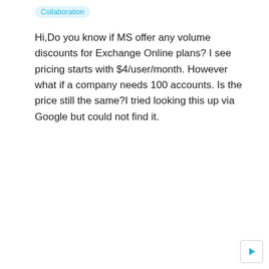Collaboration
Hi,Do you know if MS offer any volume discounts for Exchange Online plans? I see pricing starts with $4/user/month. However what if a company needs 100 accounts. Is the price still the same?I tried looking this up via Google but could not find it.